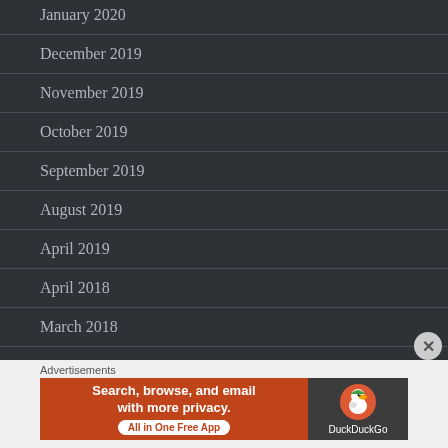January 2020
December 2019
November 2019
October 2019
September 2019
August 2019
April 2019
April 2018
March 2018
[Figure (screenshot): DuckDuckGo advertisement banner: orange left section with text 'Search, browse, and email with more privacy. All in One Free App', dark right section with DuckDuckGo duck logo and brand name.]
Advertisements